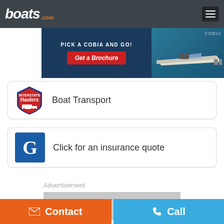boats.com
[Figure (photo): Cobia boat advertisement banner: 'PICK A COBIA AND GO!' with a red button 'Get a Brochure' and a photo of a Cobia motorboat on water]
Boat Transport
Click for an insurance quote
Advertisement
[Figure (other): Gray advertisement placeholder box]
Contact
Call